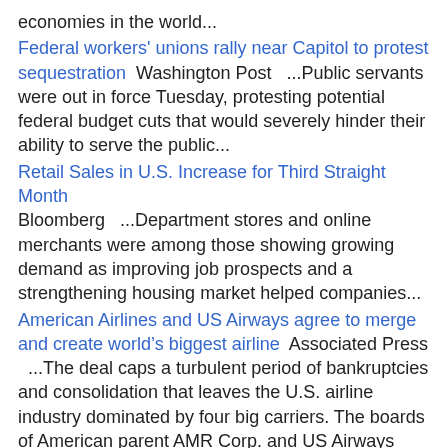economies in the world...
Federal workers' unions rally near Capitol to protest sequestration  Washington Post   ...Public servants were out in force Tuesday, protesting potential federal budget cuts that would severely hinder their ability to serve the public...
Retail Sales in U.S. Increase for Third Straight Month  Bloomberg   ...Department stores and online merchants were among those showing growing demand as improving job prospects and a strengthening housing market helped companies...
American Airlines and US Airways agree to merge and create world's biggest airline  Associated Press   ...The deal caps a turbulent period of bankruptcies and consolidation that leaves the U.S. airline industry dominated by four big carriers. The boards of American parent AMR Corp. and US Airways approved the deal late Wednesday...
Mexico unveils new strategy in war on drugs  The Guardian ...Mexico's new administration has offered the first details of its new strategy in the country's war on drugs, saying the government will spend $9.2bn (£5.9bn) this year on social programmes...the announcement was a forceful rejection of his predecessor.